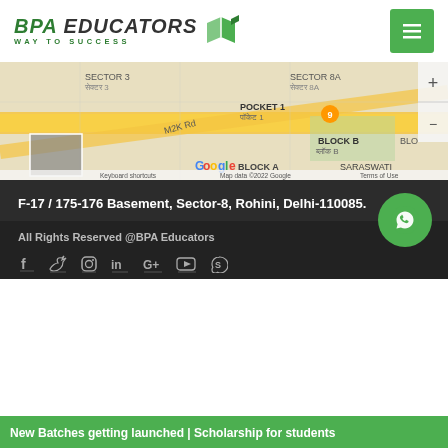[Figure (logo): BPA Educators logo with green book icon and tagline WAY TO SUCCESS]
[Figure (map): Google Maps showing Sector-8, Rohini area with M2K Rd, Block B, Pocket 1, Saraswati location]
F-17 / 175-176 Basement, Sector-8, Rohini, Delhi-110085.
All Rights Reserved @BPA Educators
[Figure (illustration): WhatsApp chat button (green circle with WhatsApp icon)]
[Figure (illustration): Social media icons: Facebook, Twitter, Instagram, LinkedIn, Google+, YouTube, Skype]
New Batches getting launched | Scholarship for students